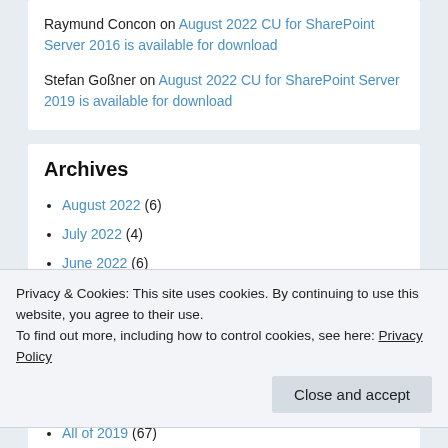Raymund Concon on August 2022 CU for SharePoint Server 2016 is available for download
Stefan Goßner on August 2022 CU for SharePoint Server 2019 is available for download
Archives
August 2022 (6)
July 2022 (4)
June 2022 (6)
May 2022 (7)
April 2022 (6)
March 2022 (5)
Privacy & Cookies: This site uses cookies. By continuing to use this website, you agree to their use. To find out more, including how to control cookies, see here: Privacy Policy
Close and accept
All of 2019 (67)